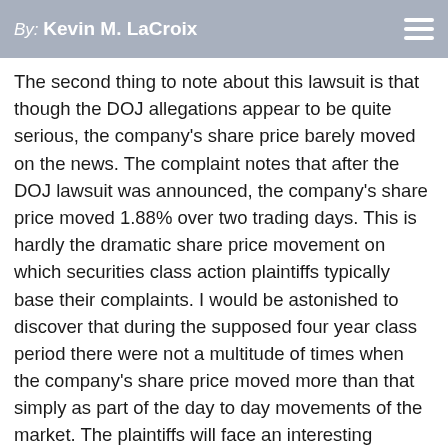By: Kevin M. LaCroix
The second thing to note about this lawsuit is that though the DOJ allegations appear to be quite serious, the company's share price barely moved on the news. The complaint notes that after the DOJ lawsuit was announced, the company's share price moved 1.88% over two trading days. This is hardly the dramatic share price movement on which securities class action plaintiffs typically base their complaints. I would be astonished to discover that during the supposed four year class period there were not a multitude of times when the company's share price moved more than that simply as part of the day to day movements of the market. The plaintiffs will face an interesting challenge establishing loss causation and damages, even assuming for the sake of argument that the plaintiff